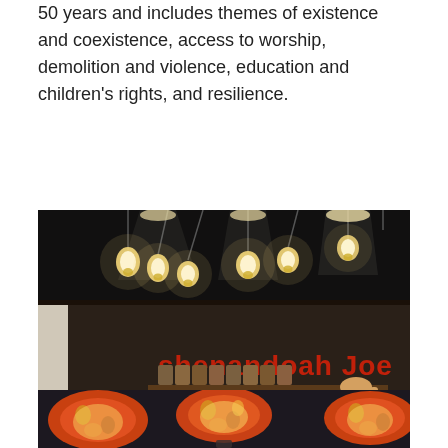50 years and includes themes of existence and coexistence, access to worship, demolition and violence, education and children's rights, and resilience.
[Figure (photo): Interior of Shenandoah Joe coffee shop showing the bar counter with equipment, barista, pendant Edison bulb lights, and red lettering reading 'shenandoah Joe' on a dark wall. Lower left shows a 'love my burg' sticker.]
[Figure (photo): Colorful patterned lamp shades illuminated from within, hanging in a dark room with warm glow.]